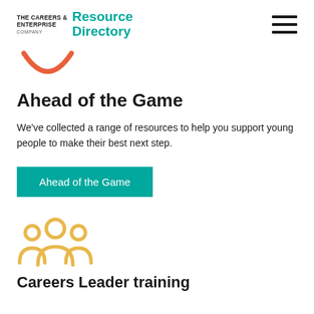THE CAREERS & ENTERPRISE COMPANY Resource Directory
[Figure (logo): Orange arc/smile icon for Ahead of the Game section]
Ahead of the Game
We've collected a range of resources to help you support young people to make their best next step.
[Figure (other): Teal button labeled Ahead of the Game]
[Figure (illustration): Golden/yellow icon of three people silhouettes representing Careers Leader training]
Careers Leader training